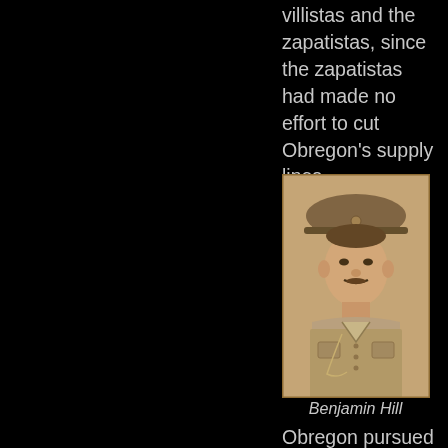villistas and the zapatistas, since the zapatistas had made no effort to cut Obregon's supply lines.
[Figure (photo): Sepia-toned portrait photograph of Benjamin Hill, a man in military uniform with a cap, slight mustache, looking slightly to the side.]
Benjamin Hill
Obregon pursued Villa, whose